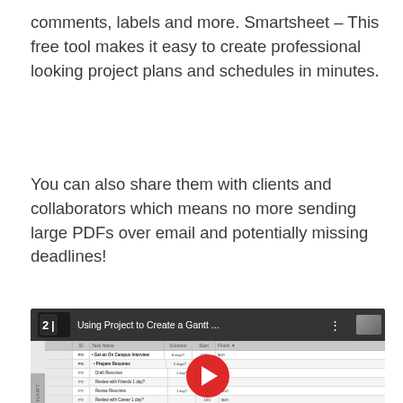comments, labels and more. Smartsheet – This free tool makes it easy to create professional looking project plans and schedules in minutes.
You can also share them with clients and collaborators which means no more sending large PDFs over email and potentially missing deadlines!
[Figure (screenshot): YouTube video thumbnail/embed showing 'Using Project to Create a Gantt ...' with a spreadsheet/Gantt chart visible in the background and a red play button in the center. YouTube logo and channel icon visible in the top bar.]